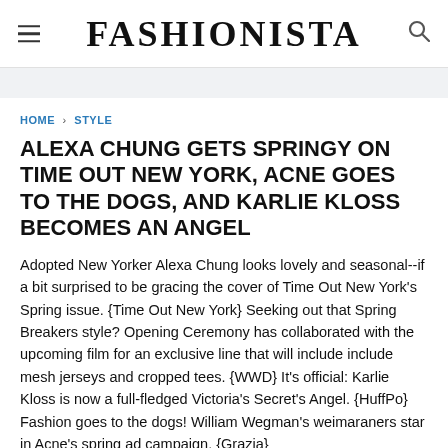FASHIONISTA
HOME > STYLE
ALEXA CHUNG GETS SPRINGY ON TIME OUT NEW YORK, ACNE GOES TO THE DOGS, AND KARLIE KLOSS BECOMES AN ANGEL
Adopted New Yorker Alexa Chung looks lovely and seasonal--if a bit surprised to be gracing the cover of Time Out New York's Spring issue. {Time Out New York} Seeking out that Spring Breakers style? Opening Ceremony has collaborated with the upcoming film for an exclusive line that will include include mesh jerseys and cropped tees. {WWD} It's official: Karlie Kloss is now a full-fledged Victoria's Secret's Angel. {HuffPo} Fashion goes to the dogs! William Wegman's weimaraners star in Acne's spring ad campaign. {Grazia}